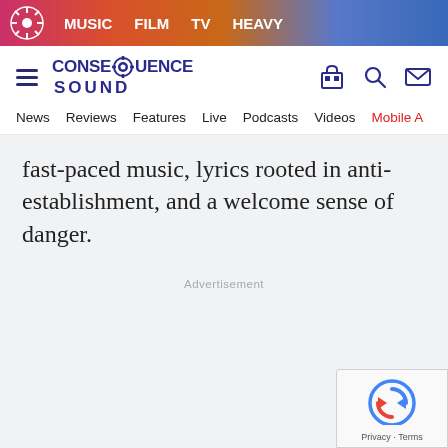MUSIC  FILM  TV  HEAVY
CONSEQUENCE SOUND
News  Reviews  Features  Live  Podcasts  Videos  Mobile A
fast-paced music, lyrics rooted in anti-establishment, and a welcome sense of danger.
Advertisement
Advertisement